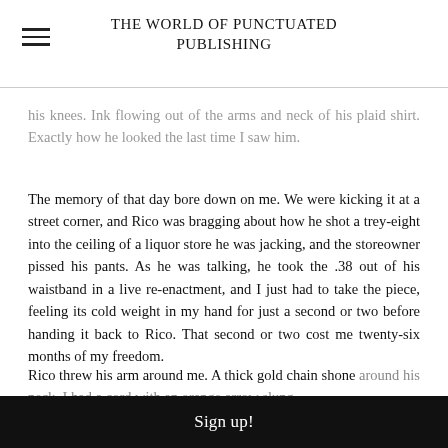THE WORLD OF PUNCTUATED PUBLISHING
his knees. Ink flowing out of the arms and neck of his plaid shirt. Exactly how he looked the last time I saw him.
The memory of that day bore down on me. We were kicking it at a street corner, and Rico was bragging about how he shot a trey-eight into the ceiling of a liquor store he was jacking, and the storeowner pissed his pants. As he was talking, he took the .38 out of his waistband in a live re-enactment, and I just had to take the piece, feeling its cold weight in my hand for just a second or two before handing it back to Rico. That second or two cost me twenty-six months of my freedom.
Rico threw his arm around me. A thick gold chain shone around his neck. I had a cord with an orange arrow slung
Sign up!